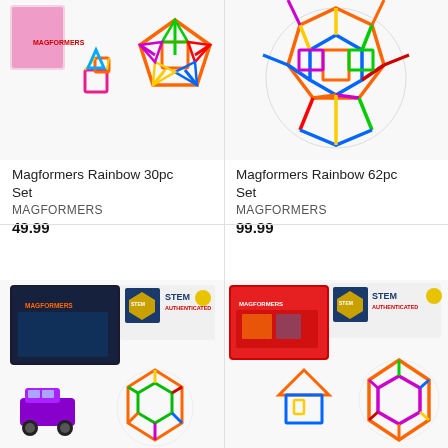[Figure (photo): Magformers Rainbow 30pc Set product image showing colorful magnetic construction pieces including squares and triangles forming 3D shapes, with product box visible]
Magformers Rainbow 30pc Set
MAGFORMERS
49.99
[Figure (photo): Magformers Rainbow 62pc Set product image showing a large colorful geodesic sphere made of magnetic rainbow-colored pieces]
Magformers Rainbow 62pc Set
MAGFORMERS
99.99
[Figure (photo): Magformers product image showing a dark box with STEM Authenticated badge, purple magnetic car and large colorful ball construction]
[Figure (photo): Magformers product image showing a box with STEM Authenticated badge, small pyramid/house structure and colorful diamond sphere construction]